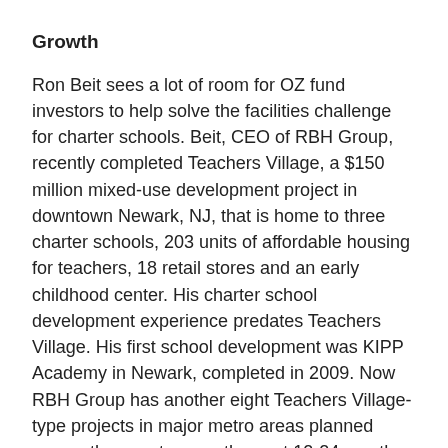Growth
Ron Beit sees a lot of room for OZ fund investors to help solve the facilities challenge for charter schools. Beit, CEO of RBH Group, recently completed Teachers Village, a $150 million mixed-use development project in downtown Newark, NJ, that is home to three charter schools, 203 units of affordable housing for teachers, 18 retail stores and an early childhood center. His charter school development experience predates Teachers Village. His first school development was KIPP Academy in Newark, completed in 2009. Now RBH Group has another eight Teachers Village-type projects in major metro areas planned across the country over the next 12-24 months.
Mr. Beit's original vision with these projects was to provide affordable workforce housing to teachers along with educational offerings to create a unique community and high quality of life. The premise was that with such a community, teachers would be the “first movers in the emerging markets of neglected urban areas.” His firm began